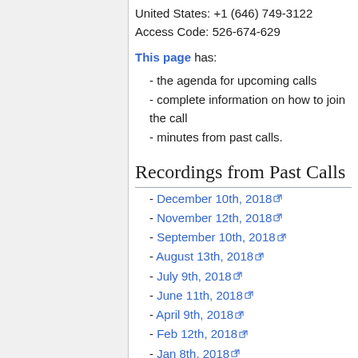United States: +1 (646) 749-3122
Access Code: 526-674-629
This page has:
- the agenda for upcoming calls
- complete information on how to join the call
- minutes from past calls.
Recordings from Past Calls
- December 10th, 2018
- November 12th, 2018
- September 10th, 2018
- August 13th, 2018
- July 9th, 2018
- June 11th, 2018
- April 9th, 2018
- Feb 12th, 2018
- Jan 8th, 2018